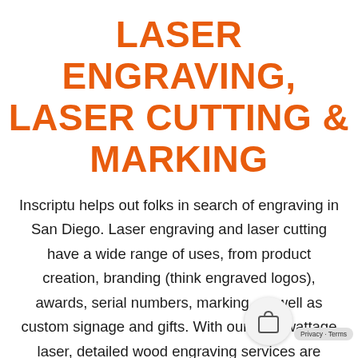LASER ENGRAVING, LASER CUTTING & MARKING
Inscriptu helps out folks in search of engraving in San Diego. Laser engraving and laser cutting have a wide range of uses, from product creation, branding (think engraved logos), awards, serial numbers, marking, as well as custom signage and gifts. With our high-wattage laser, detailed wood engraving services are available. Looking for something more personal? Our laser etching services offer personalization, signage, and invites. Let Inscriptu be the place you go to for laser engraving in San Diego.